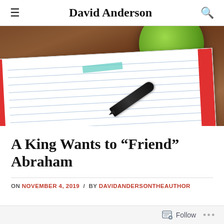David Anderson
[Figure (photo): Top-down photo of an open lined notebook with a red cover, a fountain pen lying across it, a small teal tab, and a green coffee mug in the upper right, all on a dark wooden surface.]
A King Wants to “Friend” Abraham
ON NOVEMBER 4, 2019 / BY DAVIDANDERSONTHEAUTHOR
Follow